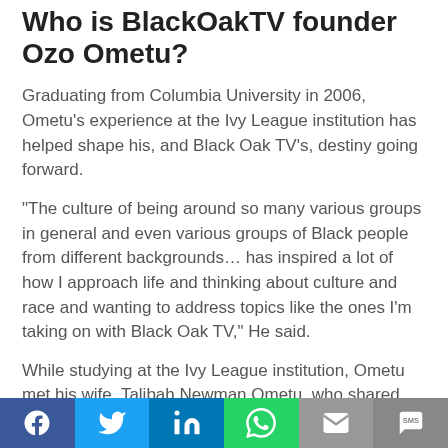Who is BlackOakTV founder Ozo Ometu?
Graduating from Columbia University in 2006, Ometu's experience at the Ivy League institution has helped shape his, and Black Oak TV's, destiny going forward.
“The culture of being around so many various groups in general and even various groups of Black people from different backgrounds… has inspired a lot of how I approach life and thinking about culture and race and wanting to address topics like the ones I’m taking on with Black Oak TV,” He said.
While studying at the Ivy League institution, Ometu met his wife, Talibah Newman Ometu, who shared his love of content and helped inspire him to pursue this venture.
“My wife is a filmmaker and I love the work she’s put